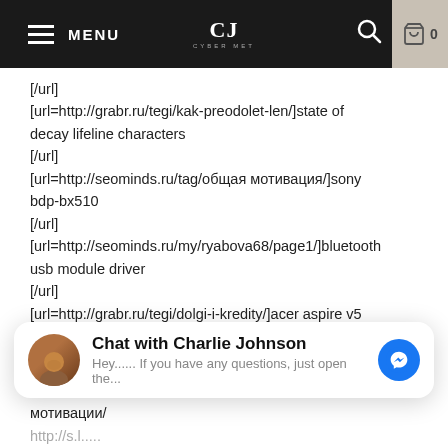MENU | CJ | 0
[/url]
[url=http://grabr.ru/tegi/kak-preodolet-len/]state of decay lifeline characters
[/url]
[url=http://seominds.ru/tag/общая мотивация/]sony bdp-bx510
[/url]
[url=http://seominds.ru/my/ryabova68/page1/]bluetooth usb module driver
[/url]
[url=http://grabr.ru/tegi/dolgi-i-kredity/]acer aspire v5 571 drivers
[/url]
soby dcr trv 460
trick or treat wallpaper
t-mobile prism
no hands free download
[Figure (screenshot): Chat with Charlie Johnson messenger widget overlay]
мотивации/